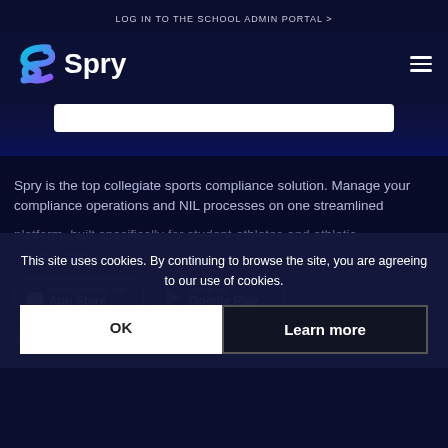LOG IN TO THE SCHOOL ADMIN PORTAL >
[Figure (logo): Spry logo: gradient S icon in cyan/purple with white 'Spry' wordmark on dark navy background]
Spry is the top collegiate sports compliance solution. Manage your compliance operations and NIL processes on one streamlined platform, built specifically for student-athletes and athletic departments.
This site uses cookies. By continuing to browse the site, you are agreeing to our use of cookies.
OK
Learn more
[Figure (screenshot): Download on the App Store button]
[Figure (screenshot): Get it on Google Play button]
SIGN UP FOR OUR NEWSLETTER